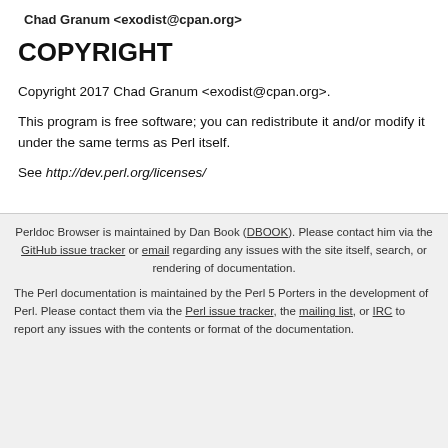Chad Granum <exodist@cpan.org>
COPYRIGHT
Copyright 2017 Chad Granum <exodist@cpan.org>.
This program is free software; you can redistribute it and/or modify it under the same terms as Perl itself.
See http://dev.perl.org/licenses/
Perldoc Browser is maintained by Dan Book (DBOOK). Please contact him via the GitHub issue tracker or email regarding any issues with the site itself, search, or rendering of documentation.

The Perl documentation is maintained by the Perl 5 Porters in the development of Perl. Please contact them via the Perl issue tracker, the mailing list, or IRC to report any issues with the contents or format of the documentation.